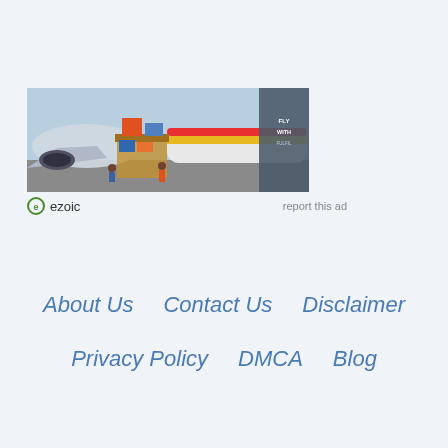[Figure (photo): Advertisement banner showing cargo being loaded onto a commercial aircraft on a tarmac. An ezoic logo and 'report this ad' text appear below the image.]
report this ad
About Us
Contact Us
Disclaimer
Privacy Policy
DMCA
Blog